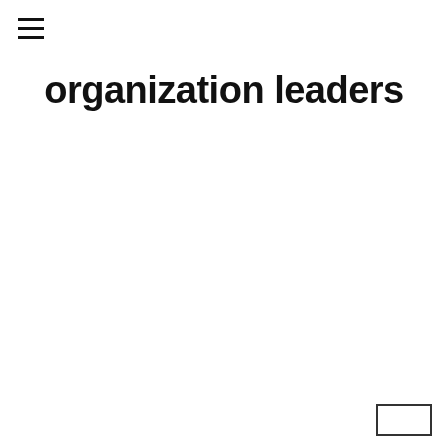[Figure (other): Hamburger menu icon (three horizontal lines)]
organization leaders